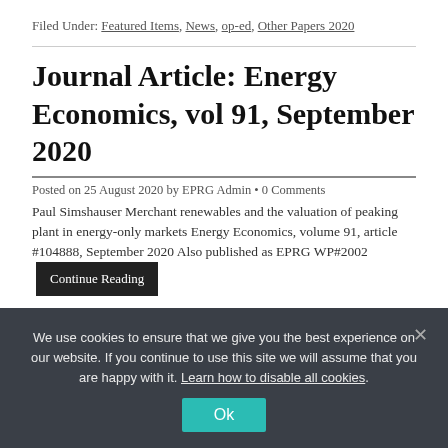Filed Under: Featured Items, News, op-ed, Other Papers 2020
Journal Article: Energy Economics, vol 91, September 2020
Posted on 25 August 2020 by EPRG Admin • 0 Comments
Paul Simshauser Merchant renewables and the valuation of peaking plant in energy-only markets Energy Economics, volume 91, article #104888, September 2020 Also published as EPRG WP#2002
Filed Under: Featured Items, Journal Articles 2020, News
We use cookies to ensure that we give you the best experience on our website. If you continue to use this site we will assume that you are happy with it. Learn how to disable all cookies.